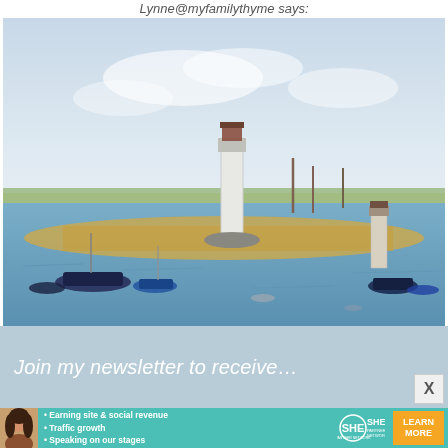Lynne@myfamilythyme says:
[Figure (photo): Watercolor-style photograph of a coastal harbor scene with a white lighthouse in the center background, boats moored in blue water in the foreground, a sandy/grassy strip of land in the middle, and a light blue sky above.]
Join my newsletter to receive…
[Figure (infographic): SHE Partner Network advertisement banner with a woman's photo on the left, bullet points reading 'Earning site & social revenue', 'Traffic growth', 'Speaking on our stages', the SHE logo, and a 'LEARN MORE / BECOME A MEMBER' orange button on the right.]